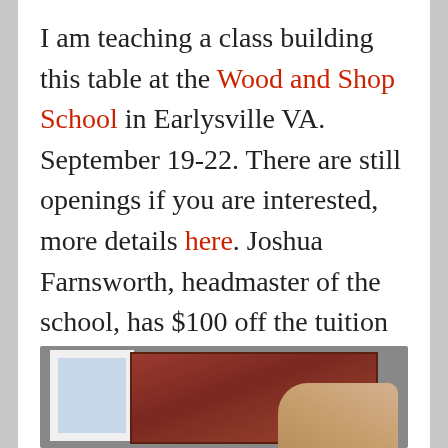I am teaching a class building this table at the Wood and Shop School in Earlysville VA. September 19-22. There are still openings if you are interested, more details here. Joshua Farnsworth, headmaster of the school, has $100 off the tuition for the class the next few days using the coupon code $100SALE at checkout.
[Figure (photo): Photo showing a wooden tool box or chest (reddish interior) with a window visible in the background and a hand reaching into or near the box]